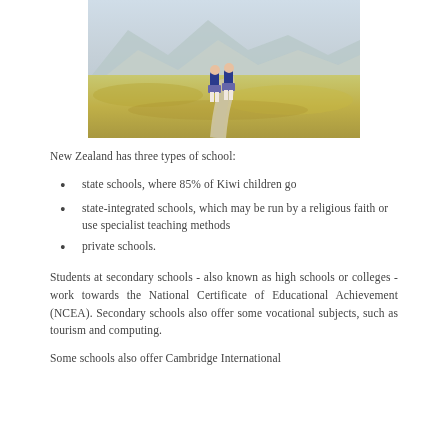[Figure (photo): Two schoolgirls in blue uniforms and plaid skirts walking on a path through an open landscape with mountains in the background]
New Zealand has three types of school:
state schools, where 85% of Kiwi children go
state-integrated schools, which may be run by a religious faith or use specialist teaching methods
private schools.
Students at secondary schools - also known as high schools or colleges - work towards the National Certificate of Educational Achievement (NCEA). Secondary schools also offer some vocational subjects, such as tourism and computing.
Some schools also offer Cambridge International